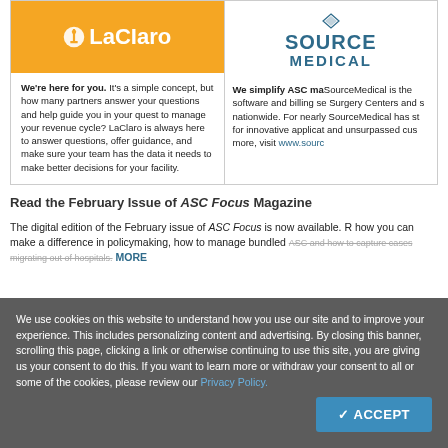[Figure (logo): LaClaro logo on orange background]
We're here for you. It's a simple concept, but how many partners answer your questions and help guide you in your quest to manage your revenue cycle? LaClaro is always here to answer questions, offer guidance, and make sure your team has the data it needs to make better decisions for your facility.
[Figure (logo): Source Medical logo with diamond icon]
We simplify ASC ma... SourceMedical is the software and billing se... Surgery Centers and s... nationwide. For nearly... SourceMedical has st... for innovative applicat... and unsurpassed cus... more, visit www.sourc...
Read the February Issue of ASC Focus Magazine
The digital edition of the February issue of ASC Focus is now available. R... how you can make a difference in policymaking, how to manage bundled... ASC and how to capture cases migrating out of hospitals. MORE
We use cookies on this website to understand how you use our site and to improve your experience. This includes personalizing content and advertising. By closing this banner, scrolling this page, clicking a link or otherwise continuing to use this site, you are giving us your consent to do this. If you want to learn more or withdraw your consent to all or some of the cookies, please review our Privacy Policy.